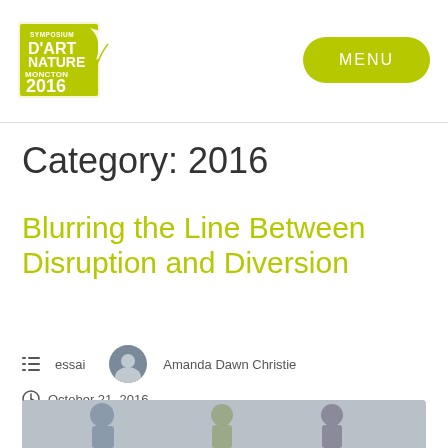[Figure (logo): Symposium D'Art Nature Moncton 2016 logo with stylized feather/leaf graphic in black and yellow-green]
MENU
Category: 2016
Blurring the Line Between Disruption and Diversion
essai   Amanda Dawn Christie
October 21, 2016
[Figure (photo): Partial bottom image strip showing people, beginning of an article photo]